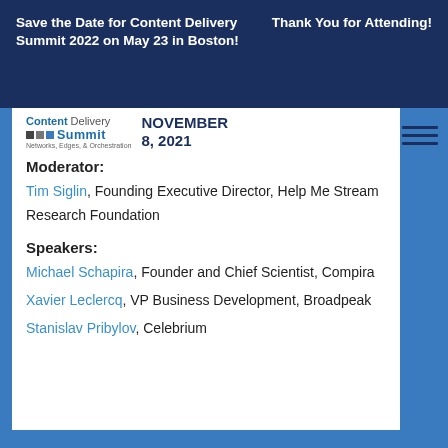Save the Date for Content Delivery Summit 2022 on May 23 in Boston!
Thank You for Attending!
[Figure (logo): Content Delivery Summit logo with squares and tagline Networks, Edges, & Orchestration, alongside date NOVEMBER 8, 2021]
Moderator:
Tim Siglin, Founding Executive Director, Help Me Stream Research Foundation
Speakers:
Michael Schapira, Founder and Chief Scientist, Compira
Xavier Leclercq, VP Business Development, Broadpeak
Stanislav Pribylov, Celebrium